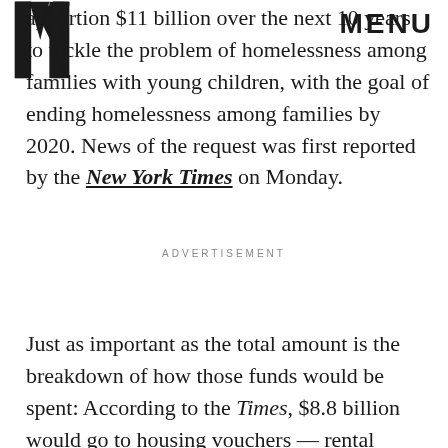MIC | MENU
apportion $11 billion over the next 10 years to tackle the problem of homelessness among families with young children, with the goal of ending homelessness among families by 2020. News of the request was first reported by the New York Times on Monday.
ADVERTISEMENT
Just as important as the total amount is the breakdown of how those funds would be spent: According to the Times, $8.8 billion would go to housing vouchers — rental assistance that helps low-